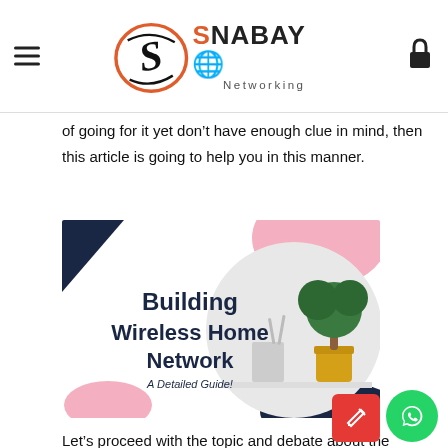SNABAYO Networking
of going for it yet don’t have enough clue in mind, then this article is going to help you in this manner.
[Figure (infographic): Building Wireless Home Network infographic with bold dark navy title text on white background, decorative shapes in pink and navy, circular photo of a router and potted bonsai tree on a shelf. Subtitle reads 'A Detailed Guide!']
Let’s proceed with the topic and debate about the process step by step. In simple words, building a Home Wireless Network means attaching an internet access point to the